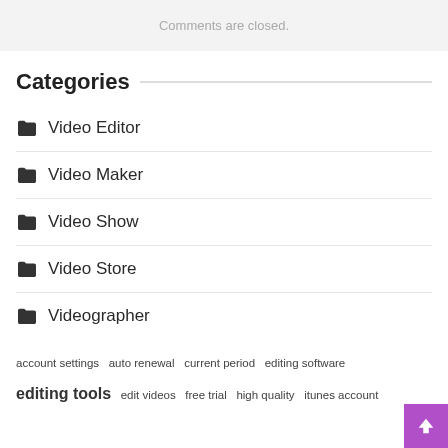Comments are closed.
Categories
Video Editor
Video Maker
Video Show
Video Store
Videographer
account settings  auto renewal  current period  editing software  editing tools  edit videos  free trial  high quality  itunes account  music video  video clips  video content  video editing